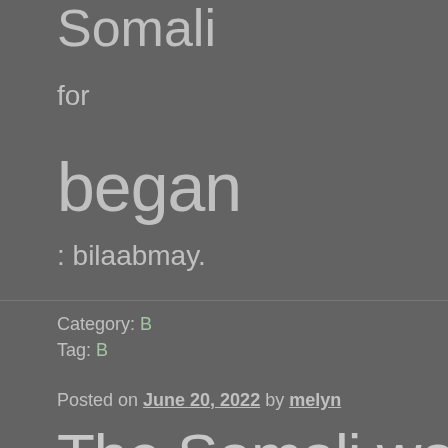Somali
for
began
: bilaabmay.
Category: B
Tag: B
Posted on June 20, 2022 by melyn
The Somali word for bad